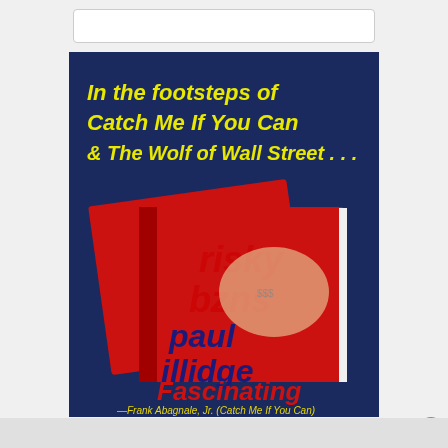[Figure (illustration): Book advertisement image on dark blue background. Text reads 'In the footsteps of Catch Me If You Can & The Wolf of Wall Street...' in yellow bold font at top. Shows two red books titled 'risky bzns' by 'paul illidge' with money imagery. Bottom text: 'Fascinating —Frank Abagnale, Jr. (Catch Me If You Can)']
[Figure (infographic): CVS Pharmacy advertisement banner. Shows CVS logo with heart on red background, text 'Shop In-Store Or Online' with 'CVS' in blue below. Navigation arrow icon on right. Play and X icons on left.]